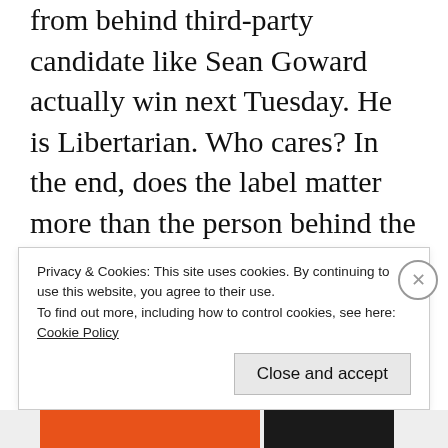from behind third-party candidate like Sean Goward actually win next Tuesday.  He is Libertarian.  Who cares?  In the end, does the label matter more than the person behind the label?  What that person stands for?  Their inner integrity?  Labels aren't getting Delaware anywhere.  Party loyalty is crippling this state, as well as our country, more than
Privacy & Cookies: This site uses cookies. By continuing to use this website, you agree to their use.
To find out more, including how to control cookies, see here: Cookie Policy